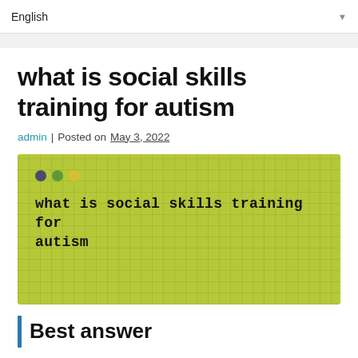English
what is social skills training for autism
admin | Posted on May 3, 2022
[Figure (screenshot): Green grid-patterned box with three colored dots (dark, green, yellow) and bold monospace text reading 'what is social skills training for autism']
Best answer